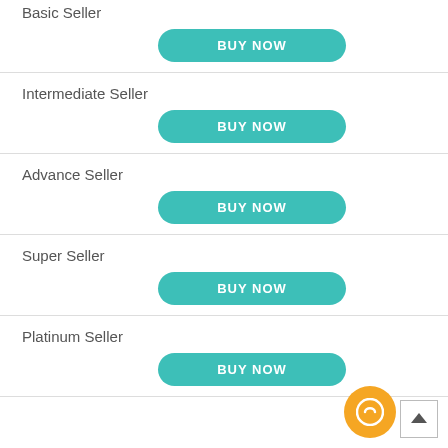Basic Seller
BUY NOW
Intermediate Seller
BUY NOW
Advance Seller
BUY NOW
Super Seller
BUY NOW
Platinum Seller
BUY NOW